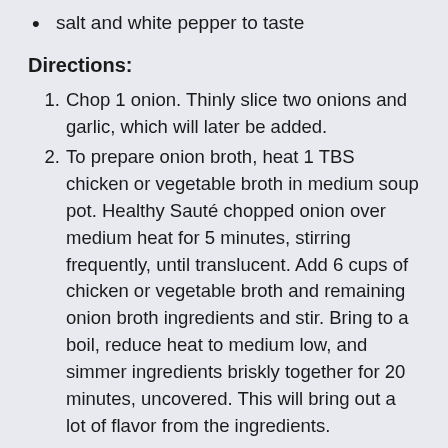salt and white pepper to taste
Directions:
Chop 1 onion. Thinly slice two onions and garlic, which will later be added.
To prepare onion broth, heat 1 TBS chicken or vegetable broth in medium soup pot. Healthy Sauté chopped onion over medium heat for 5 minutes, stirring frequently, until translucent. Add 6 cups of chicken or vegetable broth and remaining onion broth ingredients and stir. Bring to a boil, reduce heat to medium low, and simmer ingredients briskly together for 20 minutes, uncovered. This will bring out a lot of flavor from the ingredients.
In a separate medium sized stainless steel skillet, heat 1 TBS of the onion broth over